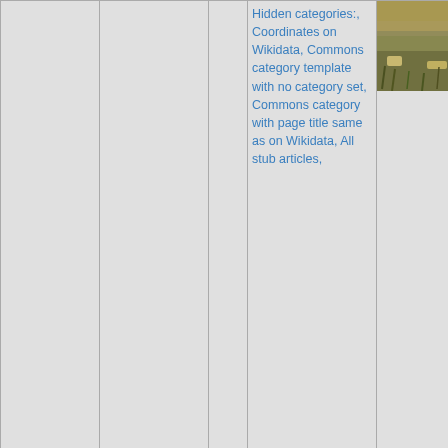| Nav | Name | Link | Categories | Image |
| --- | --- | --- | --- | --- |
|  |  |  | Hidden categories:, Coordinates on Wikidata, Commons category template with no category set, Commons category with page title same as on Wikidata, All stub articles, | [photo] |
| 76: ↗ 5.8mi [icons] | Good Samaritan Medical Center (West Palm Beach, Florida) | 🔗 | Hospital buildings completed in 1920, Hospital buildings completed in 1988, Hospitals in Florida, Tenet Healthcare, Hidden categories:, Coordinates |  |